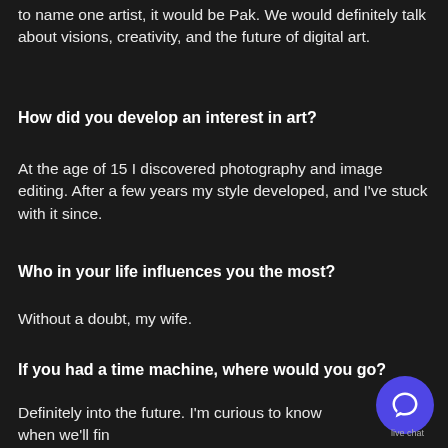to name one artist, it would be Pak. We would definitely talk about visions, creativity, and the future of digital art.
How did you develop an interest in art?
At the age of 15 I discovered photography and image editing. After a few years my style developed, and I've stuck with it since.
Who in your life influences you the most?
Without a doubt, my wife.
If you had a time machine, where would you go?
Definitely into the future. I'm curious to know when we'll fin flying cars.